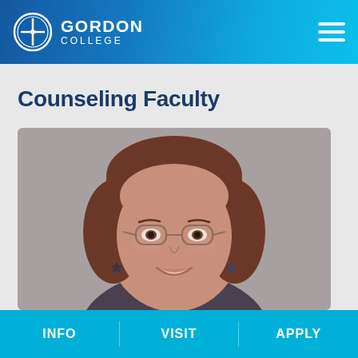GORDON COLLEGE
Counseling Faculty
[Figure (photo): Headshot of a woman with short brown hair and glasses, smiling, wearing earrings, against a gray background.]
INFO   VISIT   APPLY